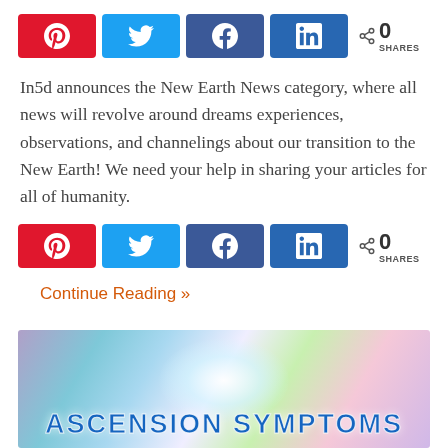[Figure (infographic): Social share buttons row: Pinterest (red), Twitter (light blue), Facebook (blue), LinkedIn (dark blue), share icon with count 0 SHARES]
In5d announces the New Earth News category, where all news will revolve around dreams experiences, observations, and channelings about our transition to the New Earth! We need your help in sharing your articles for all of humanity.
[Figure (infographic): Social share buttons row (second): Pinterest (red), Twitter (light blue), Facebook (blue), LinkedIn (dark blue), share icon with count 0 SHARES]
Continue Reading »
[Figure (illustration): Colorful blurred background image with glowing figure, text at bottom reads ASCENSION SYMPTOMS in blue block letters]